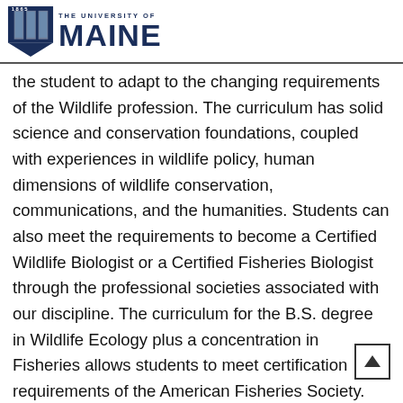1865 THE UNIVERSITY OF MAINE
the student to adapt to the changing requirements of the Wildlife profession. The curriculum has solid science and conservation foundations, coupled with experiences in wildlife policy, human dimensions of wildlife conservation, communications, and the humanities. Students can also meet the requirements to become a Certified Wildlife Biologist or a Certified Fisheries Biologist through the professional societies associated with our discipline. The curriculum for the B.S. degree in Wildlife Ecology plus a concentration in Fisheries allows students to meet certification requirements of the American Fisheries Society. The Wildlife Ecology curriculum plus a concentration in Wildlife Science and Management qualifies students to meet professional certification requirements of The Wildlife Society.